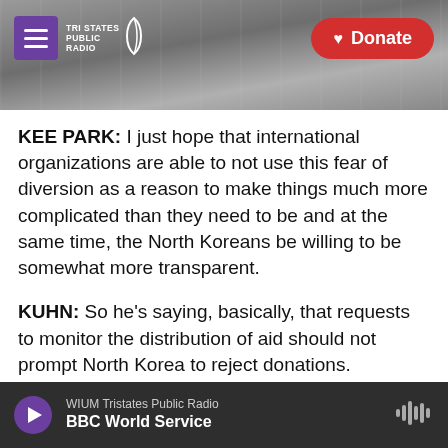Tri States Public Radio | Donate
KEE PARK: I just hope that international organizations are able to not use this fear of diversion as a reason to make things much more complicated than they need to be and at the same time, the North Koreans be willing to be somewhat more transparent.
KUHN: So he's saying, basically, that requests to monitor the distribution of aid should not prompt North Korea to reject donations.
MARTIN: NPR's Anthony Kuhn, reporting from Seoul. Thank you.
WIUM Tristates Public Radio | BBC World Service